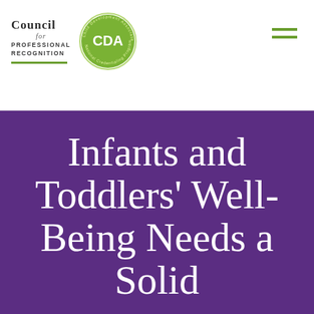Council for Professional Recognition — CDA
Infants and Toddlers' Well-Being Needs a Solid